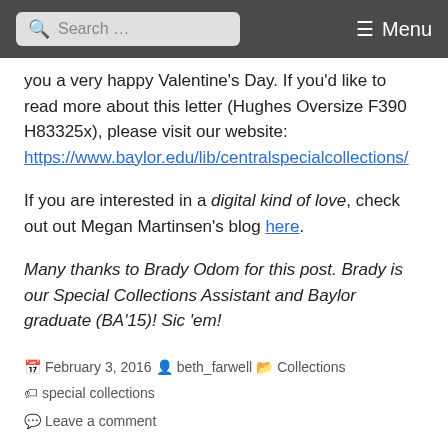Search ... Menu
you a very happy Valentine's Day. If you'd like to read more about this letter (Hughes Oversize F390 H83325x), please visit our website: https://www.baylor.edu/lib/centralspecialcollections/
If you are interested in a digital kind of love, check out out Megan Martinsen's blog here.
Many thanks to Brady Odom for this post. Brady is our Special Collections Assistant and Baylor graduate (BA'15)! Sic 'em!
February 3, 2016  beth_farwell  Collections  special collections  Leave a comment